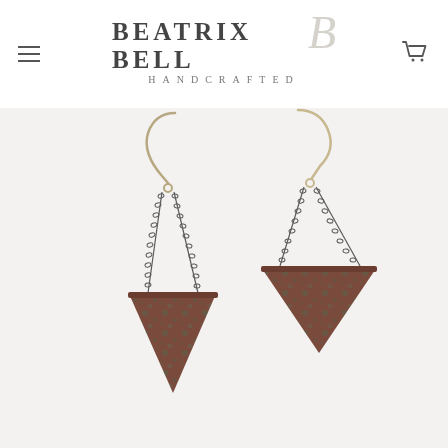Beatrix Bell Handcrafted — navigation header with logo and cart icon
[Figure (photo): Product photo of two handcrafted earrings with oxidized copper/patina triangle pendants suspended from fine chain links, hanging from gold-tone ear wires, photographed on a light grey/white background.]